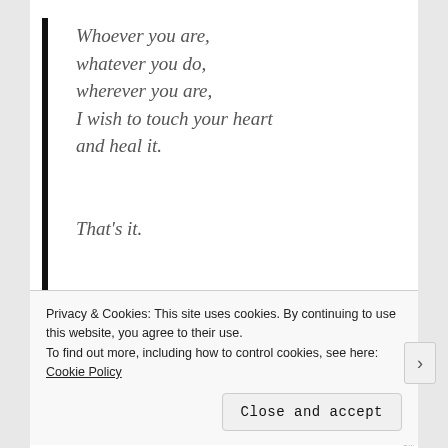Whoever you are, whatever you do, wherever you are, I wish to touch your heart and heal it.

That's it.
For me, this book did manage to fulfill the promise made in the quote taken from 'Words' — the first poem in the collection. In Unrealistic Dreams, most of the poems make you grow and
Privacy & Cookies: This site uses cookies. By continuing to use this website, you agree to their use.
To find out more, including how to control cookies, see here: Cookie Policy